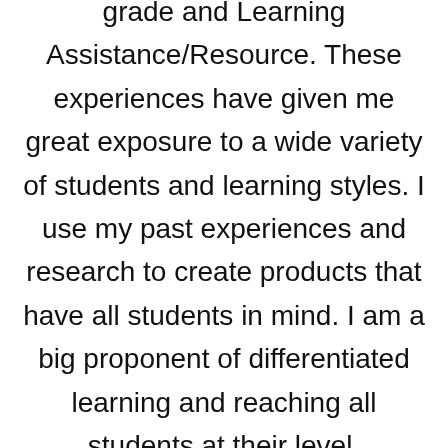grade and Learning Assistance/Resource. These experiences have given me great exposure to a wide variety of students and learning styles. I use my past experiences and research to create products that have all students in mind. I am a big proponent of differentiated learning and reaching all students at their level. I would love to connect with you